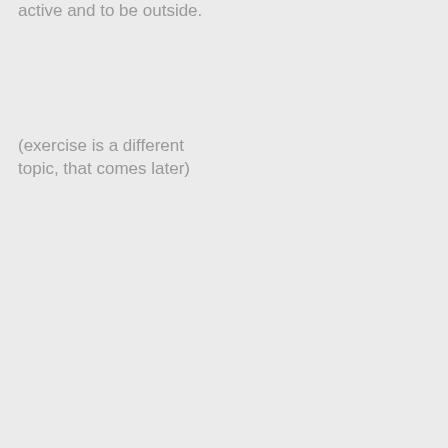active and to be outside.
(exercise is a different topic, that comes later)
cheap.
10,000 lux is the minimum and you'll want to have 30 minutes a day. Lightphoria makes a good one, you can find it on Amazon.
I'll wrap-up with two questions:
The more you have to think about  them, the more room for improvement you have